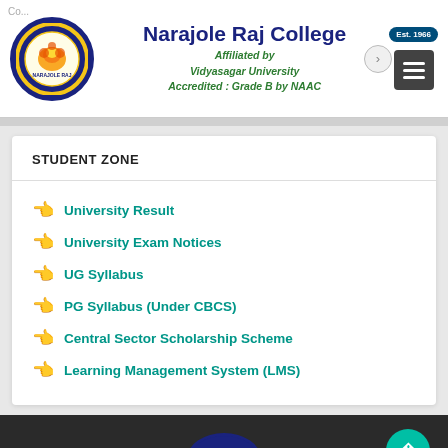[Figure (logo): Narajole Raj College circular logo with lion emblem, blue border]
Narajole Raj College
Affiliated by Vidyasagar University
Accredited : Grade B by NAAC
STUDENT ZONE
University Result
University Exam Notices
UG Syllabus
PG Syllabus (Under CBCS)
Central Sector Scholarship Scheme
Learning Management System (LMS)
[Figure (logo): Partial Narajole Raj College logo visible at bottom of dark footer area]